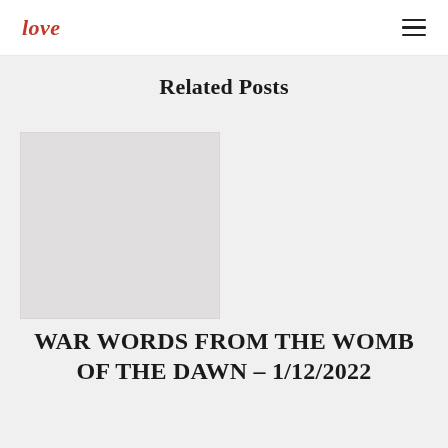love
Related Posts
[Figure (photo): Light gray placeholder image for a blog post card]
WAR WORDS FROM THE WOMB OF THE DAWN – 1/12/2022